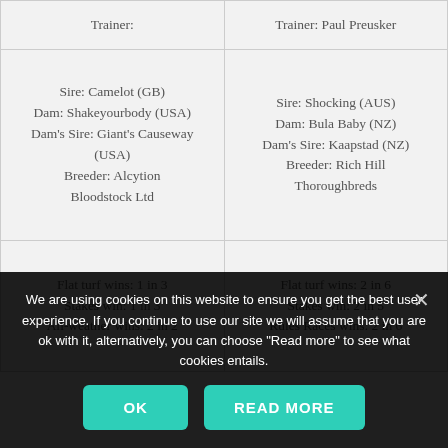| Left | Right |
| --- | --- |
| Trainer: | Trainer: Paul Preusker |
| Sire: Camelot (GB)
Dam: Shakeyourbody (USA)
Dam's Sire: Giant's Causeway (USA)
Breeder: Alcytion Bloodstock Ltd | Sire: Shocking (AUS)
Dam: Bula Baby (NZ)
Dam's Sire: Kaapstad (NZ)
Breeder: Rich Hill Thoroughbreds |
| Flat turf wins: 1 in 3
Stakes win: 1 in 3
All-weather wins: 2 in 2 | Flat turf wins: 2 in 6
Stakes win: 2 in 5
Rules Races wins: 2 in 6 |
We are using cookies on this website to ensure you get the best user experience. If you continue to use our site we will assume that you are ok with it, alternatively, you can choose "Read more" to see what cookies entails.